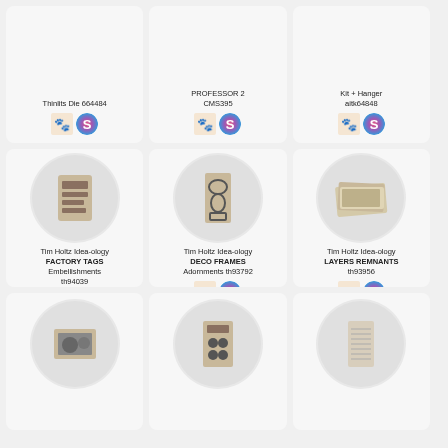Thinlits Die 664484
PROFESSOR 2 CMS395
Kit + Hanger aitk64848
[Figure (photo): Tim Holtz Idea-ology Factory Tags Embellishments product photo]
Tim Holtz Idea-ology FACTORY TAGS Embellishments th94039
[Figure (photo): Tim Holtz Idea-ology Deco Frames Adornments product photo]
Tim Holtz Idea-ology DECO FRAMES Adornments th93792
[Figure (photo): Tim Holtz Idea-ology Layers Remnants product photo]
Tim Holtz Idea-ology LAYERS REMNANTS th93956
[Figure (photo): Product photo row 3 left]
[Figure (photo): Product photo row 3 center]
[Figure (photo): Product photo row 3 right]